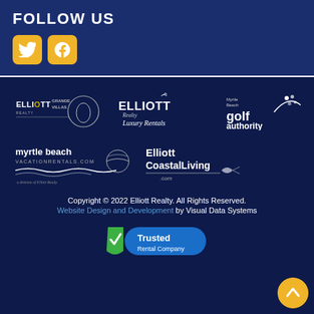FOLLOW US
[Figure (logo): Twitter and Facebook social media icons in gold/yellow rounded squares]
[Figure (logo): Elliott Grande Villas logo - white text on dark navy background]
[Figure (logo): Elliott Realty Luxury Rentals logo - white script text on dark navy background]
[Figure (logo): Myrtle Beach Golf Authority logo - white text on dark navy background]
[Figure (logo): Myrtle Beach Vacation Rentals logo - white text with beach graphic]
[Figure (logo): Elliott Coastal Living .com logo - white text on dark navy background]
Copyright © 2022 Elliott Realty. All Rights Reserved.
Website Design and Development by Visual Data Systems
[Figure (logo): Trusted Rental Company badge - green shield with checkmark and blue oval]
[Figure (other): Gold circular scroll-to-top button with upward chevron arrow]